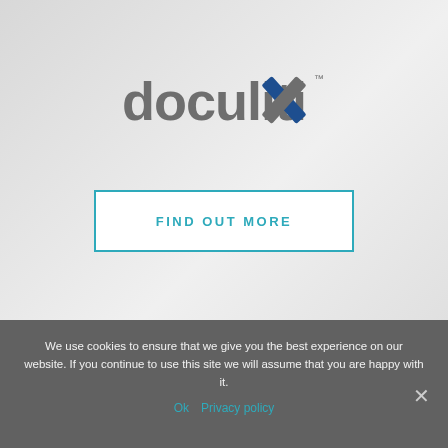[Figure (logo): Doculitix logo: lowercase grey text 'doculitix' with blue and grey X cross mark at the end, with a small superscript trademark symbol]
FIND OUT MORE
We use cookies to ensure that we give you the best experience on our website. If you continue to use this site we will assume that you are happy with it.
Ok   Privacy policy